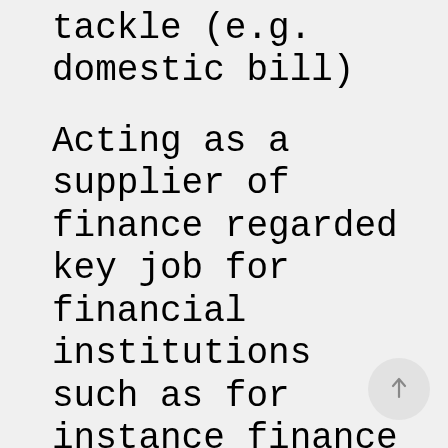tackle (e.g. domestic bill)
Acting as a supplier of finance regarded key job for financial institutions such as for instance finance companies and creditors. Other people institutions, giving of financial obligation commitment such